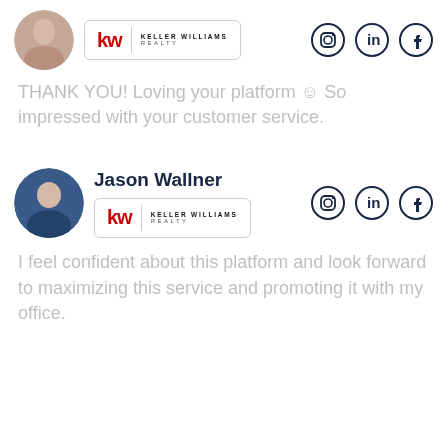[Figure (photo): Circular profile photo of a woman with dark hair, cropped at top]
[Figure (logo): Keller Williams Realty logo in a rounded rectangle border]
[Figure (infographic): Instagram, LinkedIn, and Facebook social media icons in circles]
THANK YOU! Loving your platform ☺ So impressed with your customer service.
Jason Wallner
[Figure (photo): Circular profile photo of Jason Wallner, a man in a blue suit]
[Figure (logo): Keller Williams Realty logo in a rounded rectangle border]
[Figure (infographic): Instagram, LinkedIn, and Facebook social media icons in circles]
I feel confident about this platform and look forward to maximizing this service and promoting it with my office.